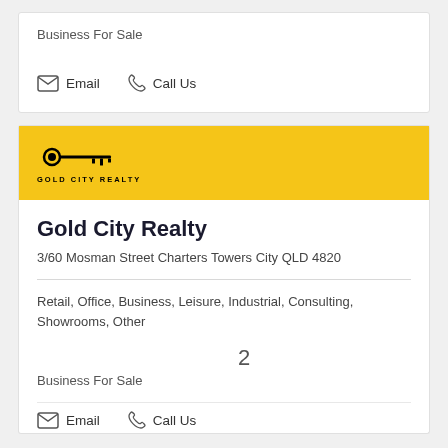Business For Sale
Email   Call Us
[Figure (logo): Gold City Realty key logo on yellow banner with text 'GOLD CITY REALTY']
Gold City Realty
3/60 Mosman Street Charters Towers City QLD 4820
Retail, Office, Business, Leisure, Industrial, Consulting, Showrooms, Other
2
Business For Sale
Email   Call Us